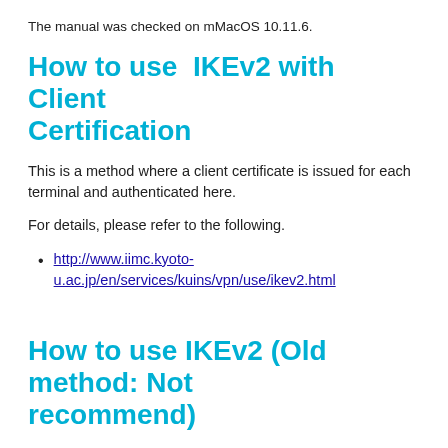The manual was checked on mMacOS 10.11.6.
How to use  IKEv2 with Client Certification
This is a method where a client certificate is issued for each terminal and authenticated here.
For details, please refer to the following.
http://www.iimc.kyoto-u.ac.jp/en/services/kuins/vpn/use/ikev2.html
How to use IKEv2 (Old method: Not recommend)